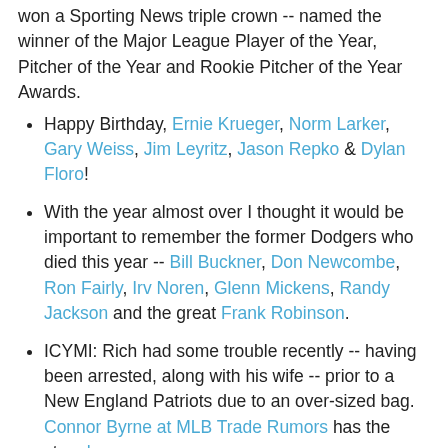won a Sporting News triple crown -- named the winner of the Major League Player of the Year, Pitcher of the Year and Rookie Pitcher of the Year Awards.
Happy Birthday, Ernie Krueger, Norm Larker, Gary Weiss, Jim Leyritz, Jason Repko & Dylan Floro!
With the year almost over I thought it would be important to remember the former Dodgers who died this year -- Bill Buckner, Don Newcombe, Ron Fairly, Irv Noren, Glenn Mickens, Randy Jackson and the great Frank Robinson.
ICYMI: Rich had some trouble recently -- having been arrested, along with his wife -- prior to a New England Patriots due to an over-sized bag. Connor Byrne at MLB Trade Rumors has the story here.
Hill then issued a statement, saying: “Despite Saturday’s events, my great respect for law enforcement remains...